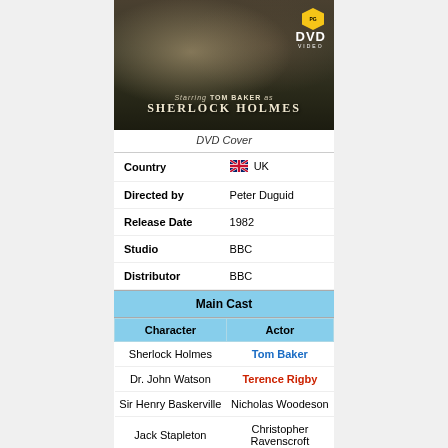[Figure (photo): DVD cover image for Sherlock Holmes starring Tom Baker, showing two men in period costume with text overlay: Starring TOM BAKER as SHERLOCK HOLMES. PG rating badge and DVD VIDEO logo in top right.]
DVD Cover
| Country | UK |
| --- | --- |
| Directed by | Peter Duguid |
| Release Date | 1982 |
| Studio | BBC |
| Distributor | BBC |
| Character | Actor |
| --- | --- |
| Sherlock Holmes | Tom Baker |
| Dr. John Watson | Terence Rigby |
| Sir Henry Baskerville | Nicholas Woodeson |
| Jack Stapleton | Christopher Ravenscroft |